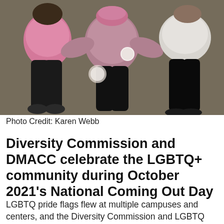[Figure (photo): Overhead/top-down photo of three people standing together on a carpeted floor, viewed from above. One person wears a pink top, one wears a mauve/dusty rose sweater, and one wears a light grey top. They are wearing dark pants.]
Photo Credit: Karen Webb
Diversity Commission and DMACC celebrate the LGBTQ+ community during October 2021's National Coming Out Day
LGBTQ pride flags flew at multiple campuses and centers, and the Diversity Commission and LGBTQ Affinity Group hosted LGBTQ+ related events...